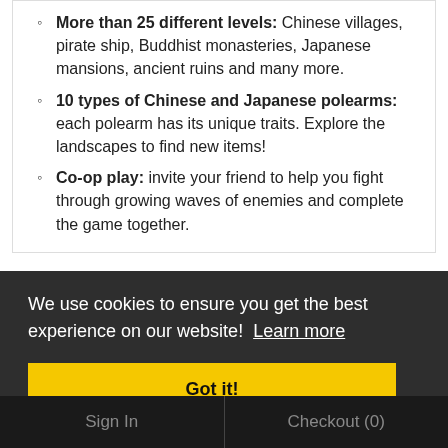More than 25 different levels: Chinese villages, pirate ship, Buddhist monasteries, Japanese mansions, ancient ruins and many more.
10 types of Chinese and Japanese polearms: each polearm has its unique traits. Explore the landscapes to find new items!
Co-op play: invite your friend to help you fight through growing waves of enemies and complete the game together.
We use cookies to ensure you get the best experience on our website! Learn more
Got it!
Sign In | Checkout (0)